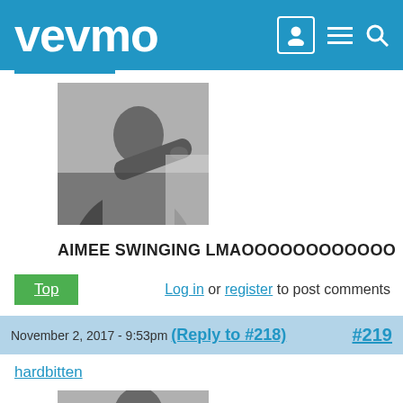vevmo
[Figure (photo): Black and white photo of a person pointing their finger at the camera, avatar image]
AIMEE SWINGING LMAOOOOOOOOOOOO
Top | Log in or register to post comments
November 2, 2017 - 9:53pm (Reply to #218) #219
hardbitten
[Figure (photo): Black and white photo of a person pointing their finger at the camera, avatar image for hardbitten]